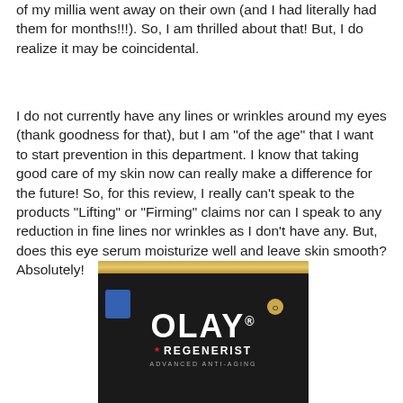of my millia went away on their own (and I had literally had them for months!!!). So,  I am thrilled about that! But, I do realize it may be coincidental.
I do not currently have any lines or wrinkles around my eyes (thank goodness for that), but I am "of the age" that I want to start prevention in this department. I know that taking good care of my skin now can really make a difference for the future! So, for this review, I really can't speak to the products "Lifting" or "Firming" claims nor can I speak to any reduction in fine lines nor wrinkles as I don't have any. But, does this eye serum moisturize well and leave skin smooth? Absolutely!
[Figure (photo): Photo of an Olay Regenerist Advanced Anti-Aging product jar, black container with gold lid, on a light background]